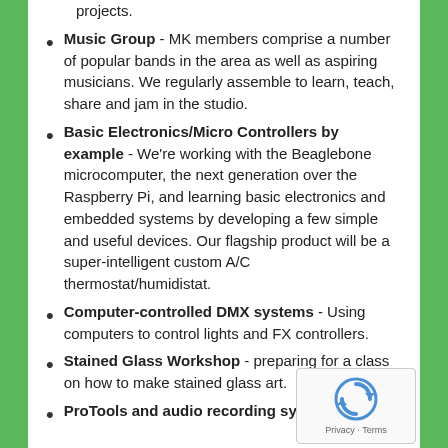projects.
Music Group - MK members comprise a number of popular bands in the area as well as aspiring musicians. We regularly assemble to learn, teach, share and jam in the studio.
Basic Electronics/Micro Controllers by example - We're working with the Beaglebone microcomputer, the next generation over the Raspberry Pi, and learning basic electronics and embedded systems by developing a few simple and useful devices. Our flagship product will be a super-intelligent custom A/C thermostat/humidistat.
Computer-controlled DMX systems - Using computers to control lights and FX controllers.
Stained Glass Workshop - preparing for a class on how to make stained glass art.
ProTools and audio recording systems -